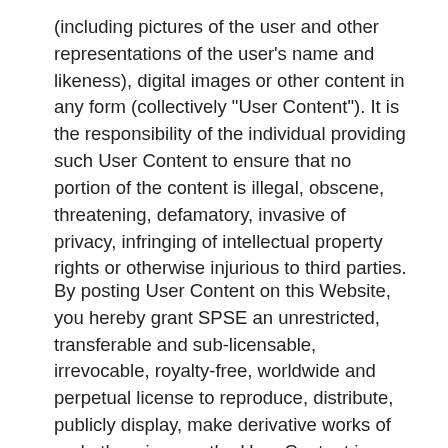(including pictures of the user and other representations of the user's name and likeness), digital images or other content in any form (collectively "User Content"). It is the responsibility of the individual providing such User Content to ensure that no portion of the content is illegal, obscene, threatening, defamatory, invasive of privacy, infringing of intellectual property rights or otherwise injurious to third parties.
By posting User Content on this Website, you hereby grant SPSE an unrestricted, transferable and sub-licensable, irrevocable, royalty-free, worldwide and perpetual license to reproduce, distribute, publicly display, make derivative works of and otherwise use the User Content in any media whatsoever now known or later invented throughout the world for any purpose whatsoever, commercial or not. You hereby disclaim any